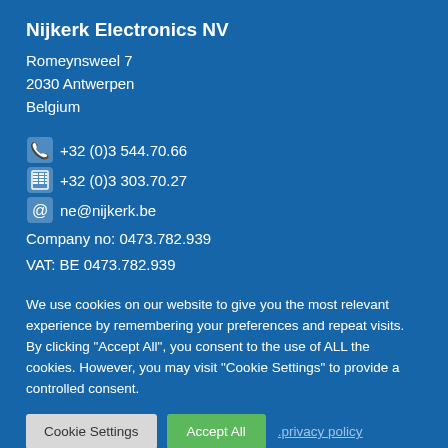Nijkerk Electronics NV
Romeynsweel 7
2030 Antwerpen
Belgium
+32 (0)3 544.70.66
+32 (0)3 303.70.27
ne@nijkerk.be
Company no: 0473.782.939
VAT: BE 0473.782.939
We use cookies on our website to give you the most relevant experience by remembering your preferences and repeat visits. By clicking "Accept All", you consent to the use of ALL the cookies. However, you may visit "Cookie Settings" to provide a controlled consent.
Cookie Settings  Accept All  .privacy policy